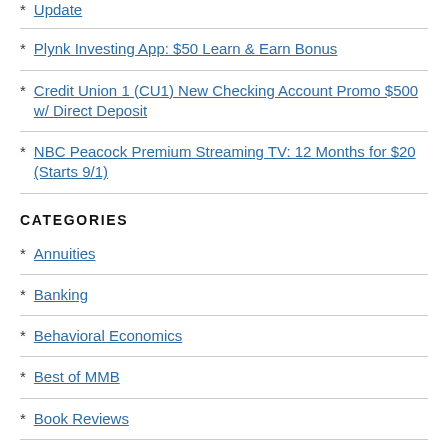Update
Plynk Investing App: $50 Learn & Earn Bonus
Credit Union 1 (CU1) New Checking Account Promo $500 w/ Direct Deposit
NBC Peacock Premium Streaming TV: 12 Months for $20 (Starts 9/1)
CATEGORIES
Annuities
Banking
Behavioral Economics
Best of MMB
Book Reviews
Bored Money